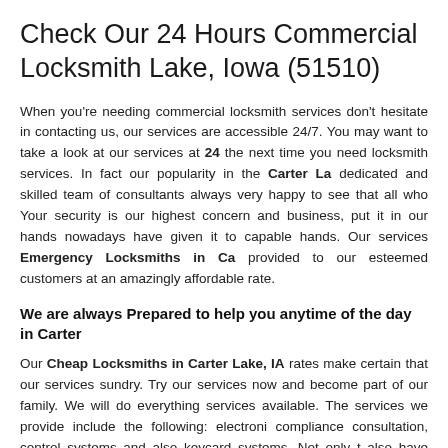Check Our 24 Hours Commercial Locksmith Lake, Iowa (51510)
When you're needing commercial locksmith services don't hesitate in contacting us, our services are accessible 24/7. You may want to take a look at our services at 24 the next time you need locksmith services. In fact our popularity in the Carter La dedicated and skilled team of consultants always very happy to see that all who Your security is our highest concern and business, put it in our hands nowadays have given it to capable hands. Our services Emergency Locksmiths in Ca provided to our esteemed customers at an amazingly affordable rate.
We are always Prepared to help you anytime of the day in Carter
Our Cheap Locksmiths in Carter Lake, IA rates make certain that our services sundry. Try our services now and become part of our family. We will do everything services available. The services we provide include the following: electroni compliance consultation, control systems and also keycard systems. Not only t also have some other services just like locks re-keyed, locks repaired, safes ope are only a phone dial away.
Quick Services for Locksmith:
Commercial Door Locks
Commercial Lo